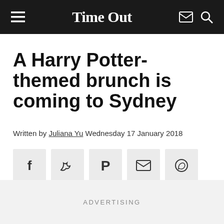TimeOut
A Harry Potter-themed brunch is coming to Sydney
Written by Juliana Yu Wednesday 17 January 2018
[Figure (other): Social share buttons: Facebook, Twitter, Pinterest, Email, WhatsApp]
ADVERTISING